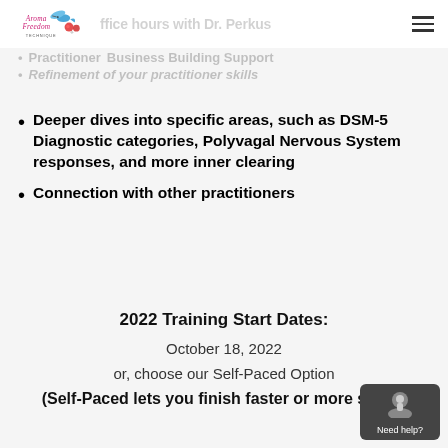office hours with Dr. Perkus
Practitioner Business Building Support
Refinement of your practitioner skills
Deeper dives into specific areas, such as DSM-5 Diagnostic categories, Polyvagal Nervous System responses, and more inner clearing
Connection with other practitioners
2022 Training Start Dates:
October 18, 2022
or, choose our Self-Paced Option
(Self-Paced lets you finish faster or more slowly